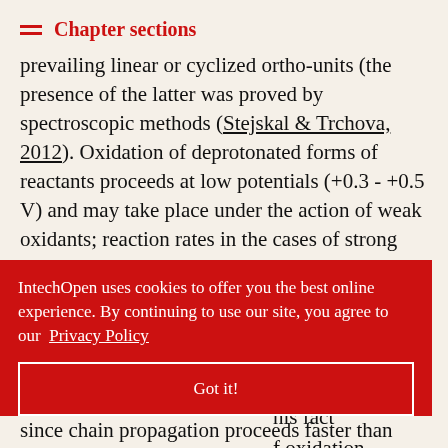Chapter sections
prevailing linear or cyclized ortho-units (the presence of the latter was proved by spectroscopic methods (Stejskal & Trchova, 2012). Oxidation of deprotonated forms of reactants proceeds at low potentials (+0.3 - +0.5 V) and may take place under the action of weak oxidants; reaction rates in the cases of strong and weak oxidants are comparable. Monotonous decrease in open circuit potential taking place in the course of the reaction (Surwade et al 2009) is due to the fact that monomer oxidation
oup of di-
ion
ger
his fact
f oxidation
ns prevail,
since chain propagation proceeds faster than
IntechOpen uses cookies to offer you the best online experience. By continuing to use our site, you agree to our Privacy Policy
Got it!